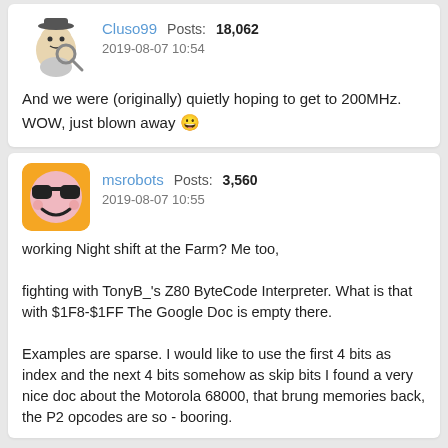[Figure (other): Avatar image of Cluso99, a cartoon character with a hat and magnifying glass]
Cluso99   Posts: 18,062
2019-08-07 10:54
And we were (originally) quietly hoping to get to 200MHz. WOW, just blown away 😀
[Figure (other): Avatar image of msrobots, a smiley face with sunglasses on an orange background]
msrobots   Posts: 3,560
2019-08-07 10:55
working Night shift at the Farm? Me too,

fighting with TonyB_'s Z80 ByteCode Interpreter. What is that with $1F8-$1FF The Google Doc is empty there.

Examples are sparse. I would like to use the first 4 bits as index and the next 4 bits somehow as skip bits I found a very nice doc about the Motorola 68000, that brung memories back, the P2 opcodes are so - booring.